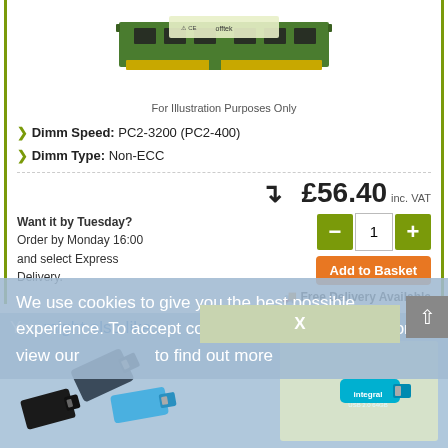[Figure (photo): RAM memory module (SODIMM) from Offtek brand, showing green PCB with gold contacts and compliance logos (CE, RoHS, etc.)]
For Illustration Purposes Only
Dimm Speed: PC2-3200 (PC2-400)
Dimm Type: Non-ECC
£56.40 inc. VAT
Want it by Tuesday?
Order by Monday 16:00 and select Express Delivery.
Add to Basket
Free Delivery Available
We use cookies to give you the best possible experience. To accept cookies continue browsing, or view our to find out more
You might also like..
[Figure (photo): USB flash drives - various colors including dark blue/grey and bright blue, with an Integral USB 2.0 64GB drive visible]